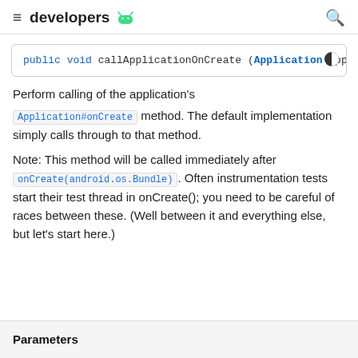≡  developers 🤖  🔍
public void callApplicationOnCreate (Application app
Perform calling of the application's Application#onCreate method. The default implementation simply calls through to that method.

Note: This method will be called immediately after onCreate(android.os.Bundle). Often instrumentation tests start their test thread in onCreate(); you need to be careful of races between these. (Well between it and everything else, but let's start here.)
Parameters